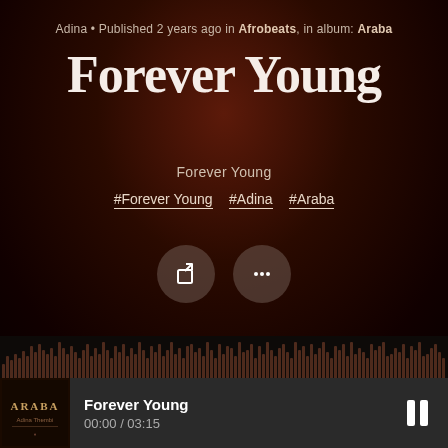Adina • Published 2 years ago in Afrobeats, in album: Araba
Forever Young
Forever Young
#Forever Young  #Adina  #Araba
[Figure (infographic): Two circular icon buttons: a share/external-link icon and a more-options (ellipsis) icon]
[Figure (other): Audio waveform visualization showing varying amplitude bars in dark brownish tones]
[Figure (other): Album thumbnail for Araba by Adina, dark brown with stylized text]
Forever Young
00:00 / 03:15